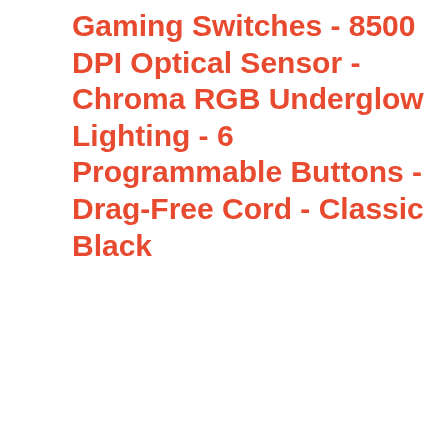Gaming Switches - 8500 DPI Optical Sensor - Chroma RGB Underglow Lighting - 6 Programmable Buttons - Drag-Free Cord - Classic Black
Lightest, Zero-Compromise Miniature Mouse: 10% Smaller Than the Viper and lighter at 61g, with a 8500 DPI optical sensor befitting the most serious gamers without the need for drilling holes in the chassis like competitor mice